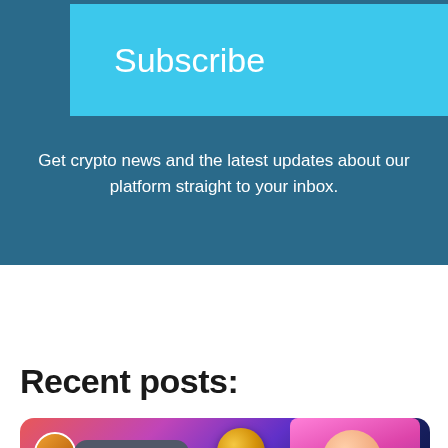Subscribe
Get crypto news and the latest updates about our platform straight to your inbox.
Recent posts:
[Figure (photo): A promotional image showing crypto coins and an animated character with a GUEST POST badge overlay, on a colorful gradient background.]